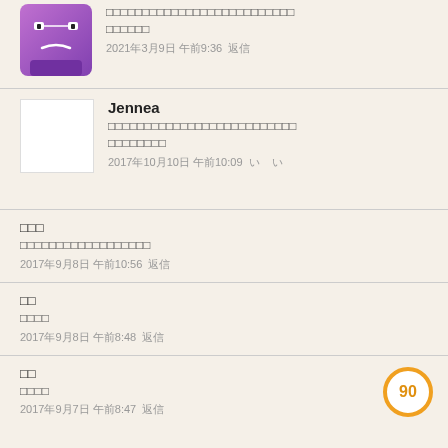[Figure (screenshot): Partial view of a comment/review card with a purple cartoon avatar and Japanese text, dated 2021年3月9日 午前9:36]
（日本語テキスト）
2021年3月9日 午前9:36　返信
Jennea
（日本語テキスト）
2017年10月10日 午前10:09　いい
（ユーザー名）
（日本語テキスト）
2017年9月8日 午前10:56　返信
（ユーザー名）
（日本語テキスト）
2017年9月8日 午前8:48　返信
（ユーザー名）
（日本語テキスト）
2017年9月7日 午前8:47　返信
[Figure (infographic): Orange circle badge showing the number 90]